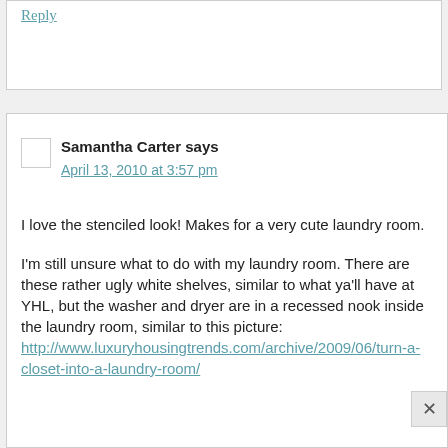Reply
Samantha Carter says
April 13, 2010 at 3:57 pm
I love the stenciled look! Makes for a very cute laundry room.

I'm still unsure what to do with my laundry room. There are these rather ugly white shelves, similar to what ya'll have at YHL, but the washer and dryer are in a recessed nook inside the laundry room, similar to this picture: http://www.luxuryhousingtrends.com/archive/2009/06/turn-a-closet-into-a-laundry-room/
We took off the bifold doors, but I'd love a way to hide the ugly shelves. I thought about doing